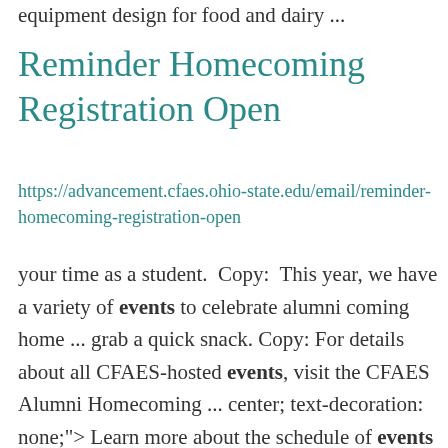equipment design for food and dairy ...
Reminder Homecoming Registration Open
https://advancement.cfaes.ohio-state.edu/email/reminder-homecoming-registration-open
your time as a student.  Copy:  This year, we have a variety of events to celebrate alumni coming home ... grab a quick snack. Copy: For details about all CFAES-hosted events, visit the CFAES Alumni Homecoming ... center; text-decoration: none;"> Learn more about the schedule of events Button context:  Takes ...